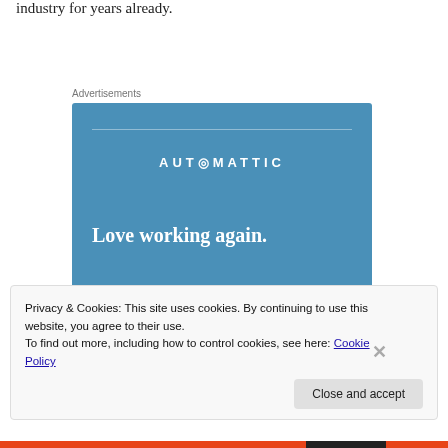industry for years already.
Advertisements
[Figure (other): Automattic advertisement banner with blue background, brand name AUTOMATTIC, tagline 'Love working again.' and an Apply button]
Privacy & Cookies: This site uses cookies. By continuing to use this website, you agree to their use.
To find out more, including how to control cookies, see here: Cookie Policy
Close and accept